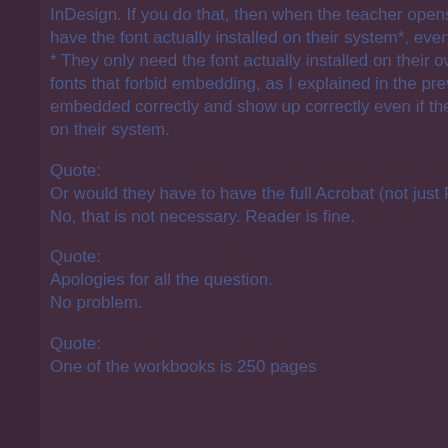InDesign. If you do that, then when the teacher opens the book in Acrobat, if they have the font actually installed on their system*, everything will show up correctly.
* They only need the font actually installed on their own system for these special fonts that forbid embedding, as I explained in the previous post. Most fonts are embedded correctly and show up correctly even if they don't have them installed on their system.
Quote:
Or would they have to have the full Acrobat (not just Reader)?
No, that is not necessary. Reader is fine.
Quote:
Apologies for all the question.
No problem.
Quote:
One of the workbooks is 250 pages